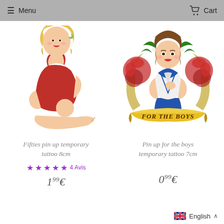Menu  Cart
[Figure (illustration): Vintage pin-up illustration of a blonde woman in a red swimsuit sitting on the floor with legs crossed, in retro 1950s style]
Fifties pin up temporary tattoo 8cm
★★★★★ 4 Avis
1,99€
[Figure (illustration): Vintage tattoo-style pin-up illustration of a brunette woman in a sailor outfit surrounded by red roses with a banner reading FOR THE BOYS]
Pin up for the boys temporary tattoo 7cm
0,99€
English